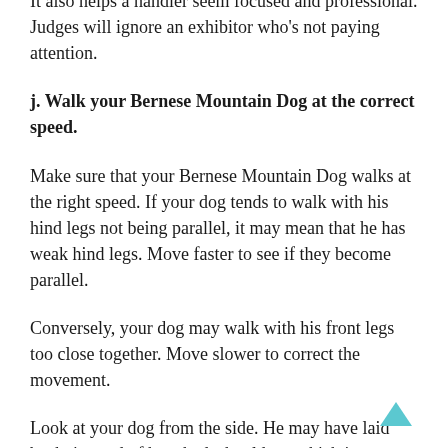improperly, which all dogs are wont to do at times.
It also helps a handler seem focused and professional. Judges will ignore an exhibitor who’s not paying attention.
j. Walk your Bernese Mountain Dog at the correct speed.
Make sure that your Bernese Mountain Dog walks at the right speed. If your dog tends to walk with his hind legs not being parallel, it may mean that he has weak hind legs. Move faster to see if they become parallel.
Conversely, your dog may walk with his front legs too close together. Move slower to correct the movement.
Look at your dog from the side. He may have laid back, instead of hunched, shoulders, which is not ideal. Another imperfection is if his feet kick out behind him. He should have a smooth topline as well.